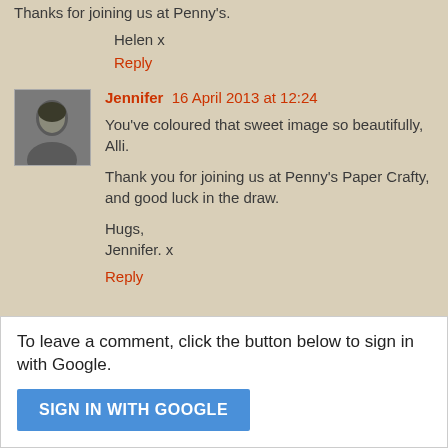Thanks for joining us at Penny's.
Helen x
Reply
[Figure (photo): Avatar photo of Jennifer, a woman with dark hair]
Jennifer  16 April 2013 at 12:24
You've coloured that sweet image so beautifully, Alli.
Thank you for joining us at Penny's Paper Crafty, and good luck in the draw.
Hugs,
Jennifer. x
Reply
To leave a comment, click the button below to sign in with Google.
SIGN IN WITH GOOGLE